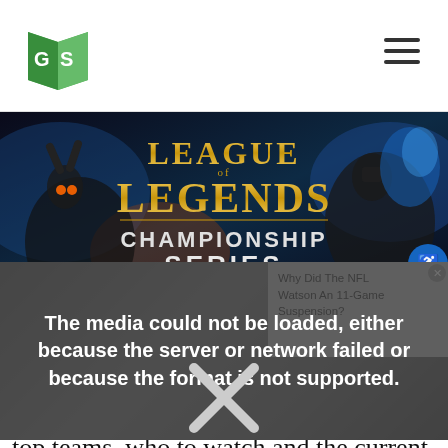GS [logo] [hamburger menu]
[Figure (illustration): League of Legends Championship Series banner with fantasy characters and golden text on dark background]
[Figure (screenshot): Media error overlay: 'The media could not be loaded, either because the server or network failed or because the format is not supported.' with X mark. Sidebar shows 'Why Did The NFL Watson An 11-Game Suspension?' ad with close button.]
A brief summary of the NA LCS format, top teams, who to watch and the current